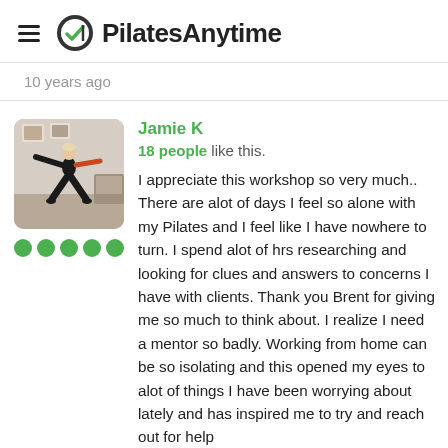PilatesAnytime
10 years ago
Jamie K
18 people like this.
[Figure (photo): Profile photo of Jamie K doing a Pilates pose with arms spread wide in a studio, wearing black clothing. Below the photo are five green filled circles indicating a rating.]
I appreciate this workshop so very much.. There are alot of days I feel so alone with my Pilates and I feel like I have nowhere to turn. I spend alot of hrs researching and looking for clues and answers to concerns I have with clients. Thank you Brent for giving me so much to think about. I realize I need a mentor so badly. Working from home can be so isolating and this opened my eyes to alot of things I have been worrying about lately and has inspired me to try and reach out for help